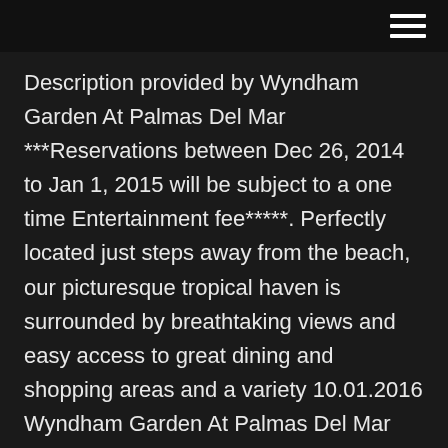Description provided by Wyndham Garden At Palmas Del Mar ***Reservations between Dec 26, 2014 to Jan 1, 2015 will be subject to a one time Entertainment fee*****. Perfectly located just steps away from the beach, our picturesque tropical haven is surrounded by breathtaking views and easy access to great dining and shopping areas and a variety 10.01.2016 Wyndham Garden At Palmas Del Mar Casino. Best Western Hotel Braunschweig Seminarius. Mini- und Maxigarde des WCV 1973 e.V. Regenbogen Apotheke. See More triangle-down; Places. Lahnstein. Hotel. Wyndham Garden Lahnstein Koblenz. English (US) · Español · Português (Brasil) · Français (France) · Deutsch. Casino Real Humacao is located within the Wyndham Garden Palmas del Mar near Humacao, Puerto Rico. Visitors